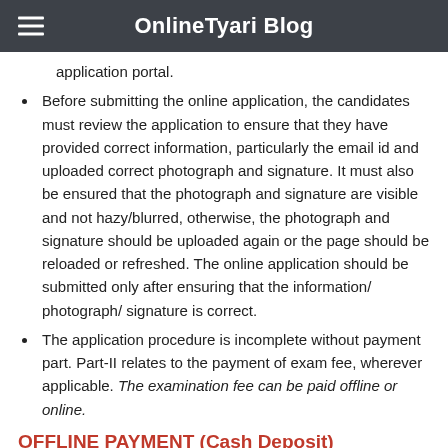OnlineTyari Blog
application portal.
Before submitting the online application, the candidates must review the application to ensure that they have provided correct information, particularly the email id and uploaded correct photograph and signature. It must also be ensured that the photograph and signature are visible and not hazy/blurred, otherwise, the photograph and signature should be uploaded again or the page should be reloaded or refreshed. The online application should be submitted only after ensuring that the information/ photograph/ signature is correct.
The application procedure is incomplete without payment part. Part-II relates to the payment of exam fee, wherever applicable. The examination fee can be paid offline or online.
OFFLINE PAYMENT (Cash Deposit)